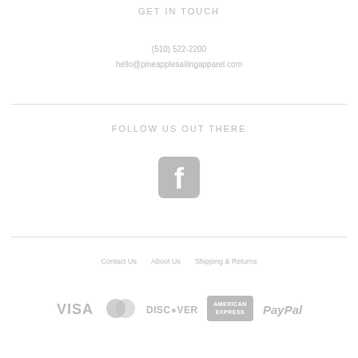GET IN TOUCH
(510) 522-2200
hello@pineapplesailingapparel.com
FOLLOW US OUT THERE
[Figure (logo): Facebook icon - gray rounded square with white F logo]
Contact Us   About Us   Shipping & Returns
[Figure (logo): Payment method logos: VISA, MasterCard, DISCOVER, American Express, PayPal - all in light gray]